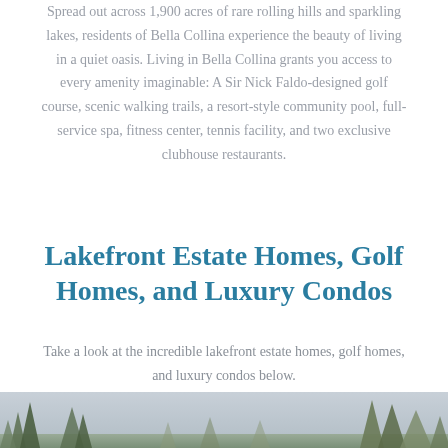Spread out across 1,900 acres of rare rolling hills and sparkling lakes, residents of Bella Collina experience the beauty of living in a quiet oasis. Living in Bella Collina grants you access to every amenity imaginable: A Sir Nick Faldo-designed golf course, scenic walking trails, a resort-style community pool, full-service spa, fitness center, tennis facility, and two exclusive clubhouse restaurants.
Lakefront Estate Homes, Golf Homes, and Luxury Condos
Take a look at the incredible lakefront estate homes, golf homes, and luxury condos below.
[Figure (photo): Outdoor landscape photo showing trees and scenery at Bella Collina, partially visible at the bottom of the page]